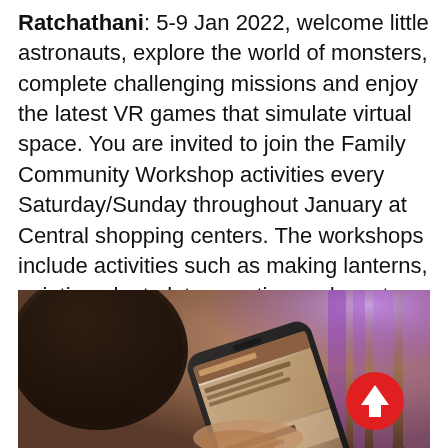Ratchathani: 5-9 Jan 2022, welcome little astronauts, explore the world of monsters, complete challenging missions and enjoy the latest VR games that simulate virtual space. You are invited to join the Family Community Workshop activities every Saturday/Sunday throughout January at Central shopping centers. The workshops include activities such as making lanterns, painting plant plots, creating underwater world flashlights, kaleidoscopes and paper crafts etc.
[Figure (photo): A person holding a smartphone showing a webpage with Thai content, with a blurred background featuring purple and brown colors. A red circular scroll-to-top button with a white upward arrow is visible in the lower right.]